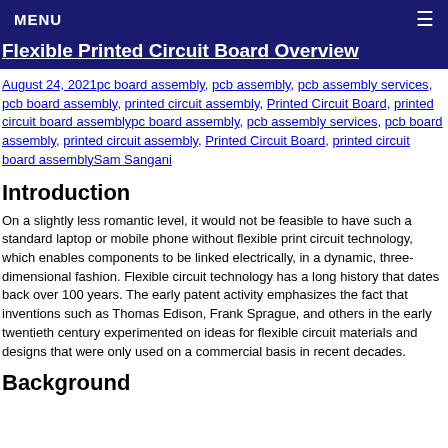MENU ☰
Flexible Printed Circuit Board Overview
August 24, 2021pc board assembly, pcb assembly, pcb assembly services, pcb board assembly, printed circuit assembly, Printed Circuit Board, printed circuit board assemblypc board assembly, pcb assembly services, pcb board assembly, printed circuit assembly, Printed Circuit Board, printed circuit board assemblySam Sangani
Introduction
On a slightly less romantic level, it would not be feasible to have such a standard laptop or mobile phone without flexible print circuit technology, which enables components to be linked electrically, in a dynamic, three-dimensional fashion. Flexible circuit technology has a long history that dates back over 100 years. The early patent activity emphasizes the fact that inventions such as Thomas Edison, Frank Sprague, and others in the early twentieth century experimented on ideas for flexible circuit materials and designs that were only used on a commercial basis in recent decades.
Background